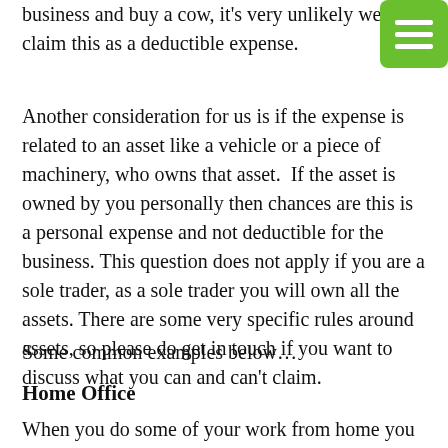business and buy a cow, it's very unlikely we can claim this as a deductible expense.
Another consideration for us is if the expense is related to an asset like a vehicle or a piece of machinery, who owns that asset.  If the asset is owned by you personally then chances are this is a personal expense and not deductible for the business. This question does not apply if you are a sole trader, as a sole trader you will own all the assets. There are some very specific rules around assets, so please do get in touch if you want to discuss what you can and can't claim.
Some common examples below…
Home Office
When you do some of your work from home you can